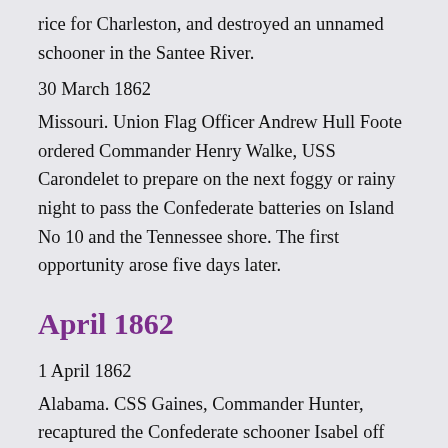rice for Charleston, and destroyed an unnamed schooner in the Santee River.
30 March 1862
Missouri. Union Flag Officer Andrew Hull Foote ordered Commander Henry Walke, USS Carondelet to prepare on the next foggy or rainy night to pass the Confederate batteries on Island No 10 and the Tennessee shore. The first opportunity arose five days later.
April 1862
1 April 1862
Alabama. CSS Gaines, Commander Hunter, recaptured the Confederate schooner Isabel off Mobile. Isabel had been under tow of USS George, Lieutenant Harrison.